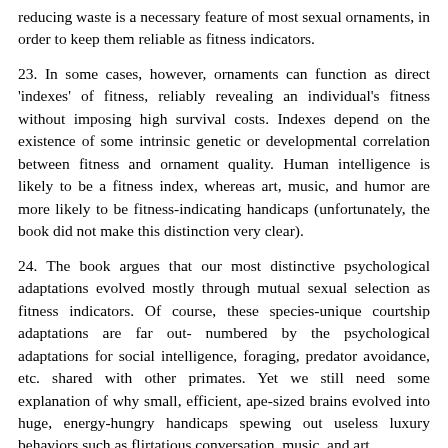reducing waste is a necessary feature of most sexual ornaments, in order to keep them reliable as fitness indicators.
23. In some cases, however, ornaments can function as direct 'indexes' of fitness, reliably revealing an individual's fitness without imposing high survival costs. Indexes depend on the existence of some intrinsic genetic or developmental correlation between fitness and ornament quality. Human intelligence is likely to be a fitness index, whereas art, music, and humor are more likely to be fitness-indicating handicaps (unfortunately, the book did not make this distinction very clear).
24. The book argues that our most distinctive psychological adaptations evolved mostly through mutual sexual selection as fitness indicators. Of course, these species-unique courtship adaptations are far out- numbered by the psychological adaptations for social intelligence, foraging, predator avoidance, etc. shared with other primates. Yet we still need some explanation of why small, efficient, ape-sized brains evolved into huge, energy-hungry handicaps spewing out useless luxury behaviors such as flirtatious conversation, music, and art.
V. CHAPTER V: ORNAMENTAL GENIUS.